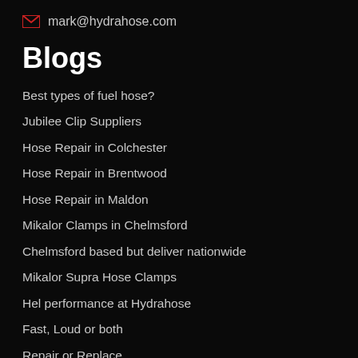mark@hydrahose.com
Blogs
Best types of fuel hose?
Jubilee Clip Suppliers
Hose Repair in Colchester
Hose Repair in Brentwood
Hose Repair in Maldon
Mikalor Clamps in Chelmsford
Chelmsford based but deliver nationwide
Mikalor Supra Hose Clamps
Hel performance at Hydrahose
Fast, Loud or both
Repair or Replace
Why should you choose branded hose